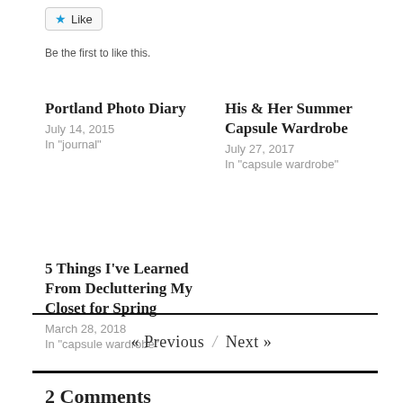[Figure (other): Like button widget with a blue star icon]
Be the first to like this.
Portland Photo Diary
July 14, 2015
In "journal"
His & Her Summer Capsule Wardrobe
July 27, 2017
In "capsule wardrobe"
5 Things I've Learned From Decluttering My Closet for Spring
March 28, 2018
In "capsule wardrobe"
« Previous / Next »
2 Comments